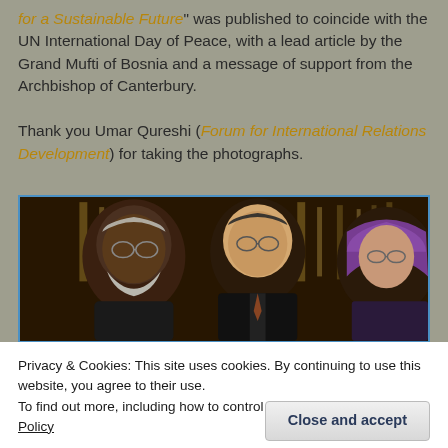for a Sustainable Future" was published to coincide with the UN International Day of Peace, with a lead article by the Grand Mufti of Bosnia and a message of support from the Archbishop of Canterbury.

Thank you Umar Qureshi (Forum for International Relations Development) for taking the photographs.
[Figure (photo): Group photo of three people standing in an ornate hall or church interior with golden decorations and candelabras in the background. From left: an older man with white beard and glasses, a middle-aged man with glasses in a dark suit, and a woman in a purple headscarf with glasses.]
Privacy & Cookies: This site uses cookies. By continuing to use this website, you agree to their use.
To find out more, including how to control cookies, see here: Cookie Policy
Close and accept